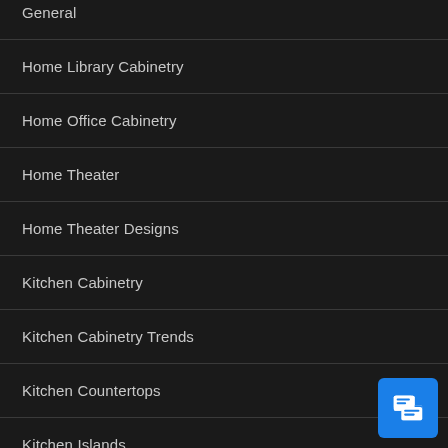General
Home Library Cabinetry
Home Office Cabinetry
Home Theater
Home Theater Designs
Kitchen Cabinetry
Kitchen Cabinetry Trends
Kitchen Countertops
Kitchen Islands